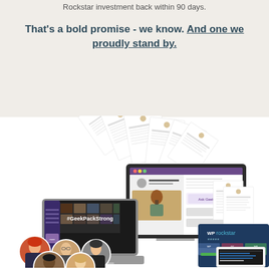Rockstar investment back within 90 days.
That's a bold promise - we know. And one we proudly stand by.
[Figure (illustration): Collage of WP Rockstar course materials including a desktop monitor showing a course interface, a laptop with #GeekPackStrong community photo collage, documents/worksheets fanned out, WP Rockstar branding card, tablet device, and circular photos of five people (students/members).]